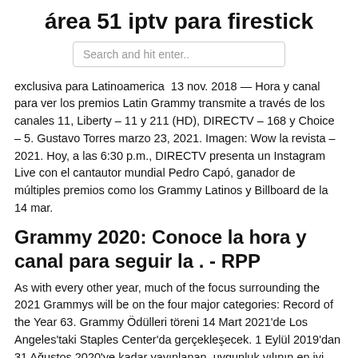área 51 iptv para firestick
[Figure (screenshot): Search bar with placeholder text 'Search and hit enter..']
exclusiva para Latinoamerica  13 nov. 2018 — Hora y canal para ver los premios Latin Grammy transmite a través de los canales 11, Liberty – 11 y 211 (HD), DIRECTV – 168 y Choice – 5. Gustavo Torres marzo 23, 2021. Imagen: Wow la revista – 2021. Hoy, a las 6:30 p.m., DIRECTV presenta un Instagram Live con el cantautor mundial Pedro Capó, ganador de múltiples premios como los Grammy Latinos y Billboard de la 14 mar.
Grammy 2020: Conoce la hora y canal para seguir la . - RPP
As with every other year, much of the focus surrounding the 2021 Grammys will be on the four major categories: Record of the Year 63. Grammy Ödülleri töreni 14 Mart 2021'de Los Angeles'taki Staples Center'da gerçekleşecek. 1 Eylül 2019'dan 31 Ağustos 2020'ye kadar yayınlanan, uygunluk yılının en iyi kayıtlarını, bestelerini ve sanatçılarını içermektedir. March 14, 2021 smartblogs 0 Comments name...